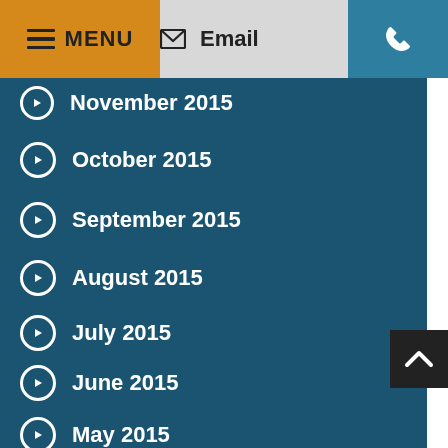MENU | Email | Phone
November 2015
October 2015
September 2015
August 2015
July 2015
June 2015
May 2015
April 2015
March 2015